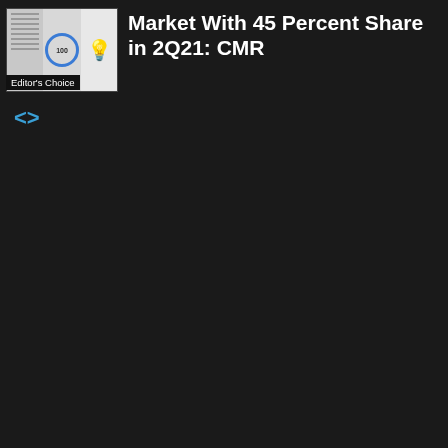[Figure (other): Thumbnail image showing a document with grid lines, a circular gauge showing '100', and a lightbulb icon. Has an 'Editor's Choice' badge overlay at the bottom.]
Market With 45 Percent Share in 2Q21: CMR
[Figure (other): Code/embed icon: angle brackets <> in blue/cyan color]